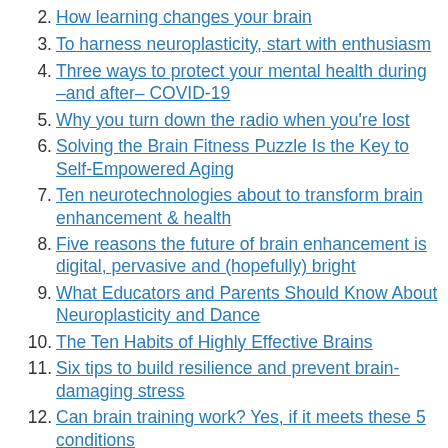2. How learning changes your brain
3. To harness neuroplasticity, start with enthusiasm
4. Three ways to protect your mental health during –and after– COVID-19
5. Why you turn down the radio when you're lost
6. Solving the Brain Fitness Puzzle Is the Key to Self-Empowered Aging
7. Ten neurotechnologies about to transform brain enhancement & health
8. Five reasons the future of brain enhancement is digital, pervasive and (hopefully) bright
9. What Educators and Parents Should Know About Neuroplasticity and Dance
10. The Ten Habits of Highly Effective Brains
11. Six tips to build resilience and prevent brain-damaging stress
12. Can brain training work? Yes, if it meets these 5 conditions
13. What are cognitive abilities and how to boost them?